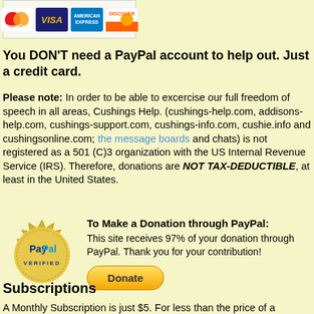[Figure (illustration): Credit card logos: MasterCard, Visa, American Express, Discover inside a light box]
You DON'T need a PayPal account to help out. Just a credit card.
Please note: In order to be able to excercise our full freedom of speech in all areas, Cushings Help. (cushings-help.com, addisons-help.com, cushings-support.com, cushings-info.com, cushie.info and cushingsonline.com; the message boards and chats) is not registered as a 501 (C)3 organization with the US Internal Revenue Service (IRS). Therefore, donations are NOT TAX-DEDUCTIBLE, at least in the United States.
[Figure (logo): PayPal Verified gold seal badge]
To Make a Donation through PayPal: This site receives 97% of your donation through PayPal. Thank you for your contribution!
Donate
Subscriptions
A Monthly Subscription is just $5. For less than the price of a